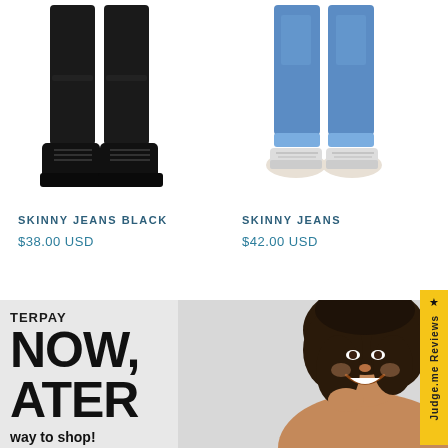[Figure (photo): Lower half of a person wearing black skinny jeans with dark boots, on white background - product photo]
SKINNY JEANS BLACK
$38.00 USD
[Figure (photo): Lower half of a person wearing blue skinny jeans with white sneakers, cuffed at ankle, on white background - product photo]
SKINNY JEANS
$42.00 USD
[Figure (photo): Yellow vertical tab on right edge with star icon and text 'Judge.me Reviews' rotated vertically]
[Figure (photo): Afterpay promotional banner with light gray background showing partial text 'TERPAY', 'NOW,', 'ATER', 'way to shop!', 'with zero interest' and a smiling woman with curly dark hair]
TERPAY
NOW,
ATER
way to shop!
with zero interest